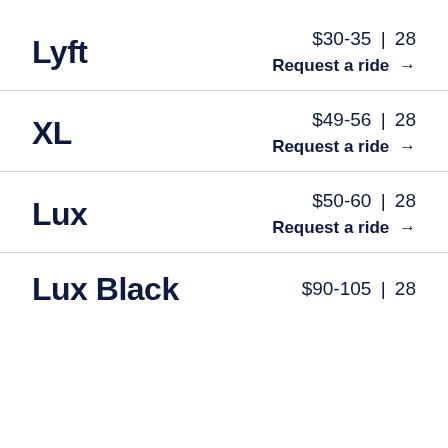Lyft — $30-35 | 28 — Request a ride →
XL — $49-56 | 28 — Request a ride →
Lux — $50-60 | 28 — Request a ride →
Lux Black — $90-105 | 28